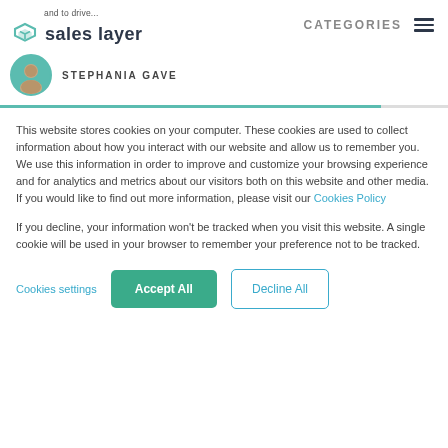and to drive... sales layer
STEPHANIA GAVE
This website stores cookies on your computer. These cookies are used to collect information about how you interact with our website and allow us to remember you. We use this information in order to improve and customize your browsing experience and for analytics and metrics about our visitors both on this website and other media. If you would like to find out more information, please visit our Cookies Policy
If you decline, your information won't be tracked when you visit this website. A single cookie will be used in your browser to remember your preference not to be tracked.
Cookies settings    Accept All    Decline All